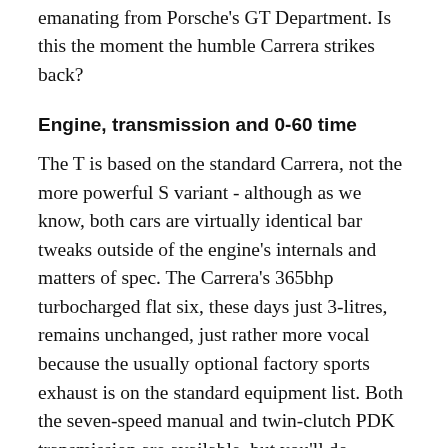emanating from Porsche's GT Department. Is this the moment the humble Carrera strikes back?
Engine, transmission and 0-60 time
The T is based on the standard Carrera, not the more powerful S variant - although as we know, both cars are virtually identical bar tweaks outside of the engine's internals and matters of spec. The Carrera's 365bhp turbocharged flat six, these days just 3-litres, remains unchanged, just rather more vocal because the usually optional factory sports exhaust is on the standard equipment list. Both the seven-speed manual and twin-clutch PDK transmission are available, but you'll do without the limited slip diff if you choose PDK, and its weight